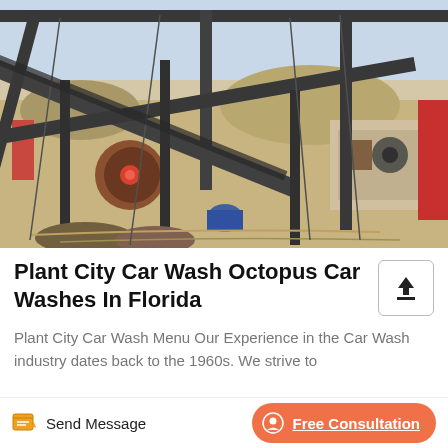[Figure (photo): Industrial machinery / rock crushing plant with conveyor belts and heavy equipment on a sandy outdoor site]
Plant City Car Wash Octopus Car Washes In Florida
Plant City Car Wash Menu Our Experience in the Car Wash industry dates back to the 1960s. We strive to provide...
Send Message   Free Consultation